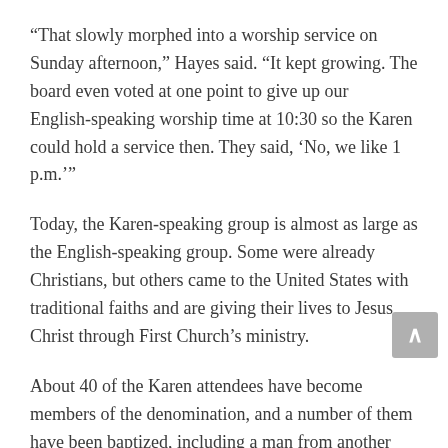“That slowly morphed into a worship service on Sunday afternoon,” Hayes said. “It kept growing. The board even voted at one point to give up our English-speaking worship time at 10:30 so the Karen could hold a service then. They said, ‘No, we like 1 p.m.’”
Today, the Karen-speaking group is almost as large as the English-speaking group. Some were already Christians, but others came to the United States with traditional faiths and are giving their lives to Jesus Christ through First Church’s ministry.
About 40 of the Karen attendees have become members of the denomination, and a number of them have been baptized, including a man from another faith who got baptized last Sunday. Another Karen member recently received a local pastor’s license.